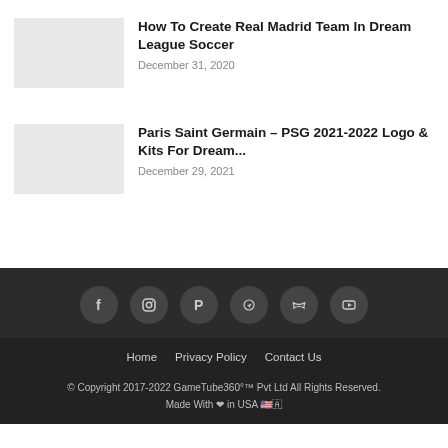How To Create Real Madrid Team In Dream League Soccer
December 31, 2020
Paris Saint Germain – PSG 2021-2022 Logo & Kits For Dream...
December 29, 2021
[Figure (other): Social media icons: Facebook, Instagram, Pinterest, Telegram, Twitter, YouTube]
Home   Privacy Policy   Contact Us
© Copyright 2017-2022 GameTube360°™ Pvt Ltd All Rights Reserved. Made With ❤ in USA 🇺🇸🇦